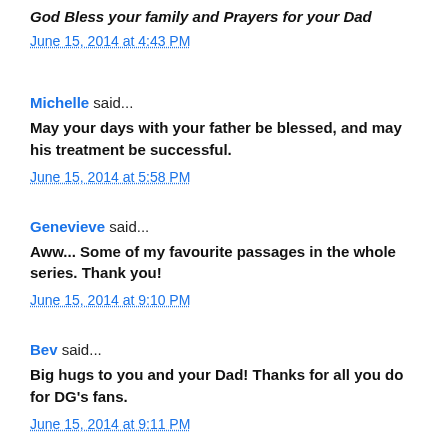God Bless your family and Prayers for your Dad
June 15, 2014 at 4:43 PM
Michelle said...
May your days with your father be blessed, and may his treatment be successful.
June 15, 2014 at 5:58 PM
Genevieve said...
Aww... Some of my favourite passages in the whole series. Thank you!
June 15, 2014 at 9:10 PM
Bev said...
Big hugs to you and your Dad! Thanks for all you do for DG's fans.
June 15, 2014 at 9:11 PM
Unknown said...
Thank you for the wonderful tear jerking post. And prayers for your dad's ♥